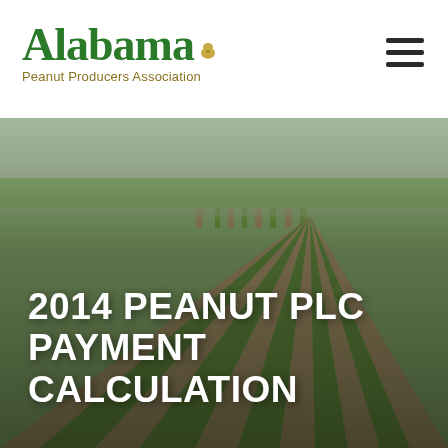[Figure (logo): Alabama Peanut Producers Association logo with green serif Alabama text and gold peanut icon, subtitle in gold]
[Figure (photo): Aerial view of peanut crop rows in a cultivated field, brown soil furrows running to horizon, green peanut plants]
2014 PEANUT PLC PAYMENT CALCULATION